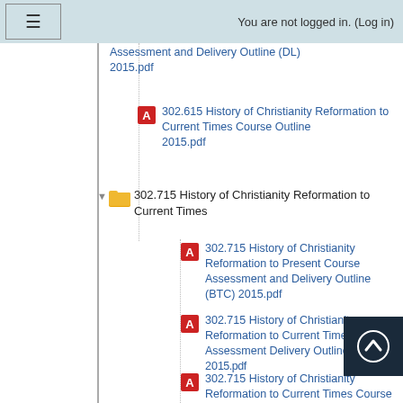≡   You are not logged in. (Log in)
Assessment and Delivery Outline (DL) 2015.pdf
302.615 History of Christianity Reformation to Current Times Course Outline 2015.pdf
302.715 History of Christianity Reformation to Current Times
302.715 History of Christianity Reformation to Present Course Assessment and Delivery Outline (BTC) 2015.pdf
302.715 History of Christianity Reformation to Current Times Course Assessment Delivery Outline (AKL) 2015.pdf
302.715 History of Christianity Reformation to Current Times Course Assessment Delivery Outline (CHCH)